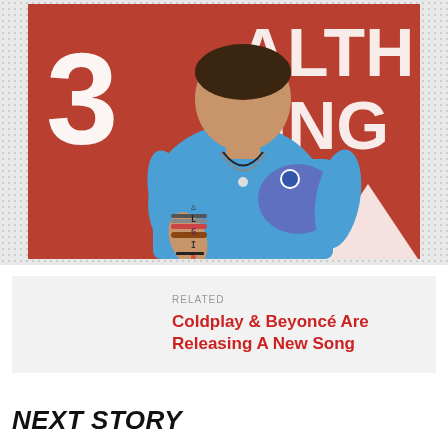[Figure (photo): A man in a blue t-shirt with bracelets and necklaces posing in front of a red wall with white text showing '3' and partial words 'ALTH' and 'EING'. Small pixel art letters visible on the shirt.]
RELATED
Coldplay & Beyoncé Are Releasing A New Song
NEXT STORY